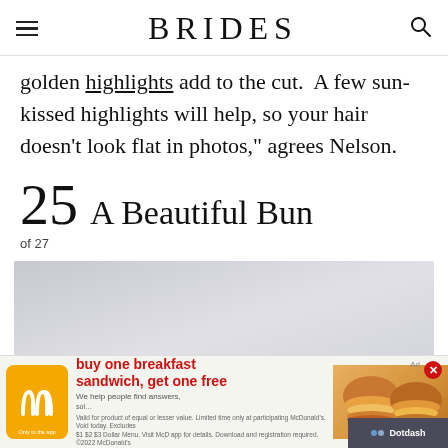BRIDES
golden highlights add to the cut. "A few sun-kissed highlights will help, so your hair doesn't look flat in photos," agrees Nelson.
25  A Beautiful Bun
of 27
[Figure (photo): A light gray/white background image placeholder for a hair bun photo]
[Figure (other): McDonald's advertisement: buy one breakfast sandwich, get one free. Only in the app. Dotdash branding at bottom right.]